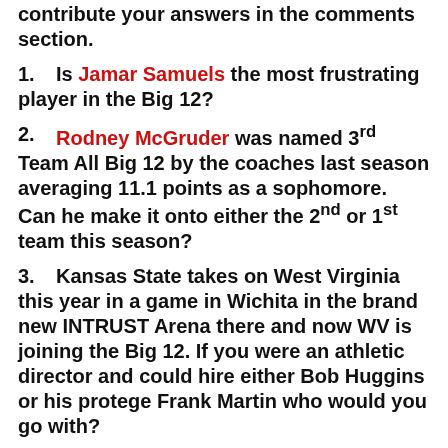contribute your answers in the comments section.
1. Is Jamar Samuels the most frustrating player in the Big 12?
2. Rodney McGruder was named 3rd Team All Big 12 by the coaches last season averaging 11.1 points as a sophomore. Can he make it onto either the 2nd or 1st team this season?
3. Kansas State takes on West Virginia this year in a game in Wichita in the brand new INTRUST Arena there and now WV is joining the Big 12. If you were an athletic director and could hire either Bob Huggins or his protege Frank Martin who would you go with?
4. Which K-State player do you expect to have